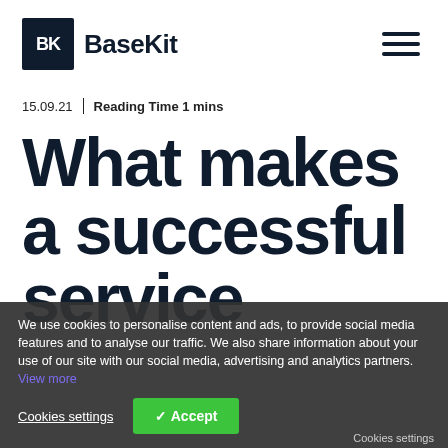[Figure (logo): BaseKit logo: dark navy square with white 'BK' text and the word 'BaseKit' in bold dark navy beside it]
15.09.21  |  Reading Time 1 mins
What makes a successful service
We use cookies to personalise content and ads, to provide social media features and to analyse our traffic. We also share information about your use of our site with our social media, advertising and analytics partners. View more
Cookies settings  ✓ Accept
Cookies settings